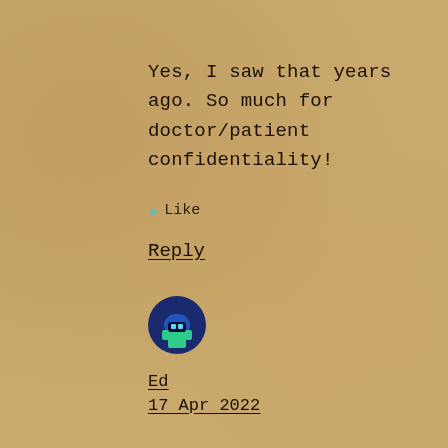Yes, I saw that years ago. So much for doctor/patient confidentiality!
Like
Reply
[Figure (illustration): Pixel art avatar icon — blue/teal rounded square with a Minecraft-style character face in blue and green on a dark blue background]
Ed
17 Apr 2022